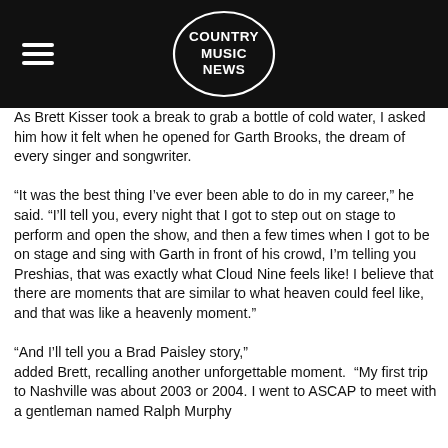COUNTRY MUSIC NEWS
As Brett Kisser took a break to grab a bottle of cold water, I asked him how it felt when he opened for Garth Brooks, the dream of every singer and songwriter.
“It was the best thing I’ve ever been able to do in my career,” he said. “I’ll tell you, every night that I got to step out on stage to perform and open the show, and then a few times when I got to be on stage and sing with Garth in front of his crowd, I’m telling you Preshias, that was exactly what Cloud Nine feels like! I believe that there are moments that are similar to what heaven could feel like, and that was like a heavenly moment.”
“And I’ll tell you a Brad Paisley story,” added Brett, recalling another unforgettable moment. “My first trip to Nashville was about 2003 or 2004. I went to ASCAP to meet with a gentleman named Ralph Murphy